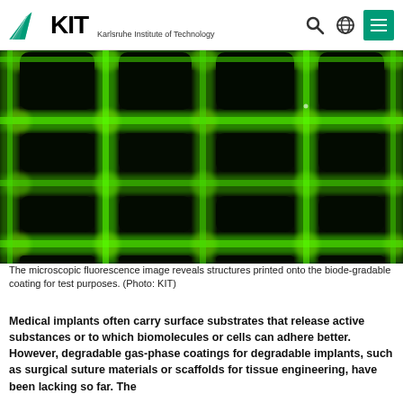KIT – Karlsruhe Institute of Technology
[Figure (photo): Microscopic fluorescence image showing a grid pattern of rounded dark squares separated by bright green glowing lines on a dark background, structures printed onto a biodegradable coating.]
The microscopic fluorescence image reveals structures printed onto the biode-gradable coating for test purposes. (Photo: KIT)
Medical implants often carry surface substrates that release active substances or to which biomolecules or cells can adhere better. However, degradable gas-phase coatings for degradable implants, such as surgical suture materials or scaffolds for tissue engineering, have been lacking so far. The